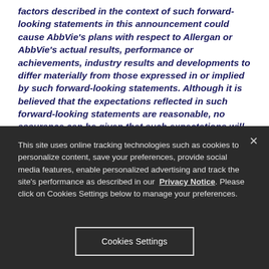factors described in the context of such forward-looking statements in this announcement could cause AbbVie's plans with respect to Allergan or AbbVie's actual results, performance or achievements, industry results and developments to differ materially from those expressed in or implied by such forward-looking statements. Although it is believed that the expectations reflected in such forward-looking statements are reasonable, no assurance can be given that such expectations will prove to have been correct and persons reading this announcement are therefore cautioned not to place undue reliance on these forward-looking statements which speak only as of the date of
This site uses online tracking technologies such as cookies to personalize content, save your preferences, provide social media features, enable personalized advertising and track the site's performance as described in our Privacy Notice. Please click on Cookies Settings below to manage your preferences.
Cookies Settings